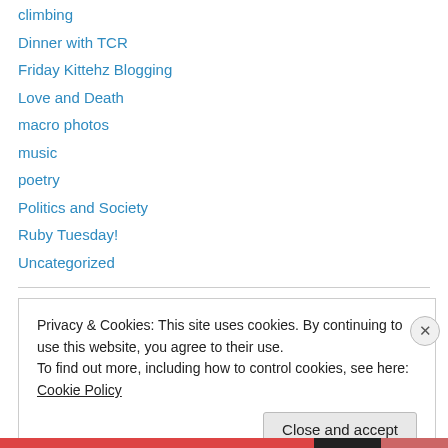climbing
Dinner with TCR
Friday Kittehz Blogging
Love and Death
macro photos
music
poetry
Politics and Society
Ruby Tuesday!
Uncategorized
Archives
Privacy & Cookies: This site uses cookies. By continuing to use this website, you agree to their use.
To find out more, including how to control cookies, see here: Cookie Policy
Close and accept